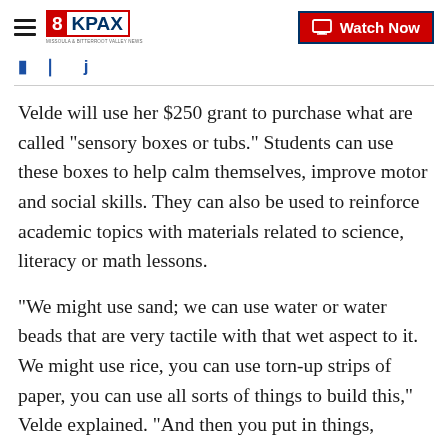8KPAX | Watch Now
Velde will use her $250 grant to purchase what are called "sensory boxes or tubs." Students can use these boxes to help calm themselves, improve motor and social skills. They can also be used to reinforce academic topics with materials related to science, literacy or math lessons.
"We might use sand; we can use water or water beads that are very tactile with that wet aspect to it. We might use rice, you can use torn-up strips of paper, you can use all sorts of things to build this," Velde explained. “And then you put in things, whether it’s letters or